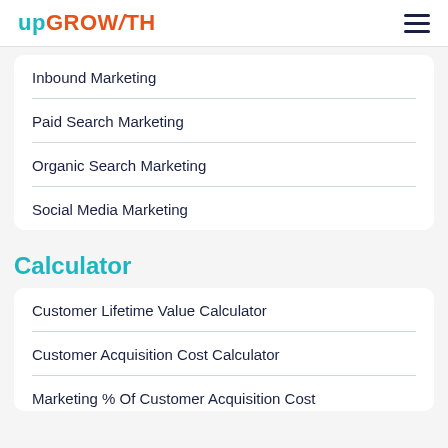upGROWTH
Inbound Marketing
Paid Search Marketing
Organic Search Marketing
Social Media Marketing
Calculator
Customer Lifetime Value Calculator
Customer Acquisition Cost Calculator
Marketing % Of Customer Acquisition Cost